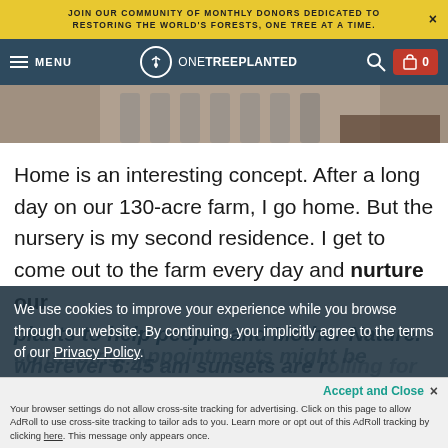JOIN OUR COMMUNITY OF MONTHLY DONORS DEDICATED TO RESTORING THE WORLD'S FORESTS, ONE TREE AT A TIME.
MENU | ONETREEPLANTED | 0
[Figure (photo): Partial view of seedling trays in a plant nursery, hands visible handling soil]
Home is an interesting concept. After a long day on our 130-acre farm, I go home. But the nursery is my second residence. I get to come out to the farm every day and nurture our plants to help people and Mother Nature.
We use cookies to improve your experience while you browse through our website. By continuing, you implicitly agree to the terms of our Privacy Policy.
Your browser settings do not allow cross-site tracking for advertising. Click on this page to allow AdRoll to use cross-site tracking to tailor ads to you. Learn more or opt out of this AdRoll tracking by clicking here. This message only appears once.